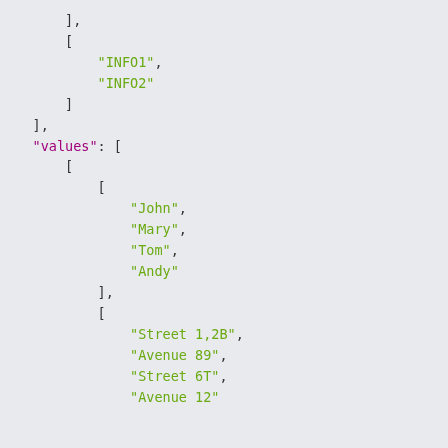JSON code snippet showing arrays with INFO1, INFO2 keys and values arrays containing names (John, Mary, Tom, Andy) and addresses (Street 1,2B, Avenue 89, Street 6T, Avenue 12)